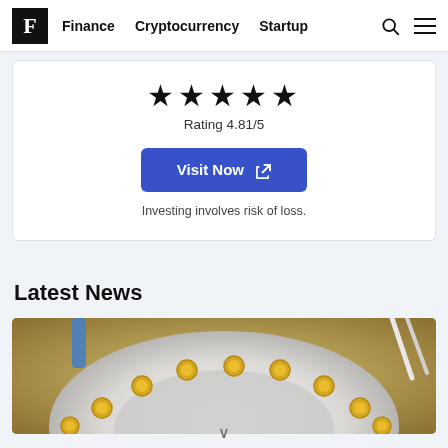F | Finance  Cryptocurrency  Startup
[Figure (infographic): Five black star rating icons displayed in a row]
Rating 4.81/5
Visit Now (external link button)
Investing involves risk of loss.
Latest News
[Figure (photo): Overhead photo of a white circular plate or tray with small gold Bitcoin coins arranged around its rim, with a blue object visible at top left]